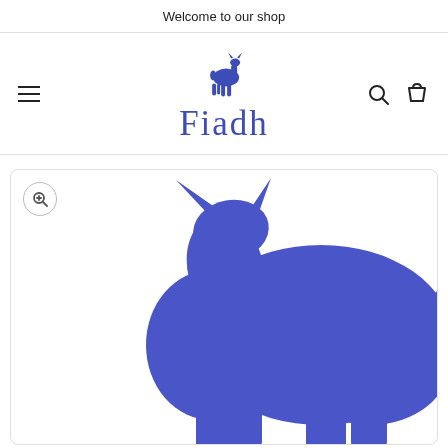Welcome to our shop
[Figure (logo): Fiadh shop logo with a small blue deer silhouette above the word Fiadh in blue serif font]
[Figure (photo): Large blue deer/doe silhouette illustration, shown from the side facing left with head turned, partial crop at bottom]